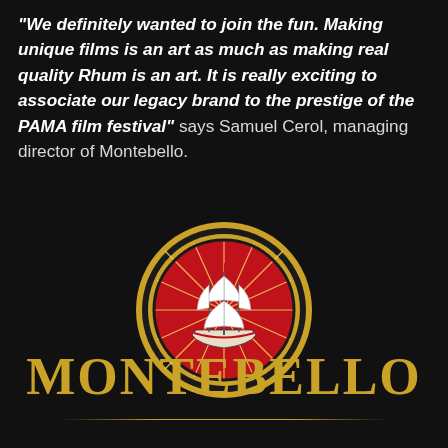“We definitely wanted to join the fun. Making unique films is an art as much as making real quality Rhum is an art. It is really exciting to associate our legacy brand to the prestige of the PAMA film festival” says Samuel Cerol, managing director of Montebello.
[Figure (logo): Montebello Rhum circular logo: black ring border with gold trim, red sunburst background, white tall ship with red flag in center]
MONTEBELLO